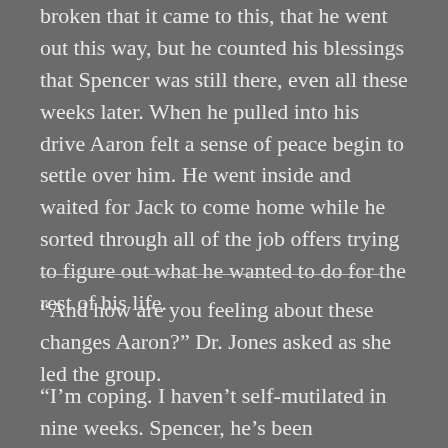broken that it came to this, that he went out this way, but he counted his blessings that Spencer was still there, even all these weeks later. When he pulled into his drive Aaron felt a sense of peace begin to settle over him. He went inside and waited for Jack to come home while he sorted through all of the job offers trying to figure out what he wanted to do for the rest of his life.
“And how are you feeling about these changes Aaron?” Dr. Jones asked as she led the group.
“I’m coping. I haven’t self-mutilated in nine weeks. Spencer, he’s been supportive and there for me. It’s hard, though, seeing him leave, going to be